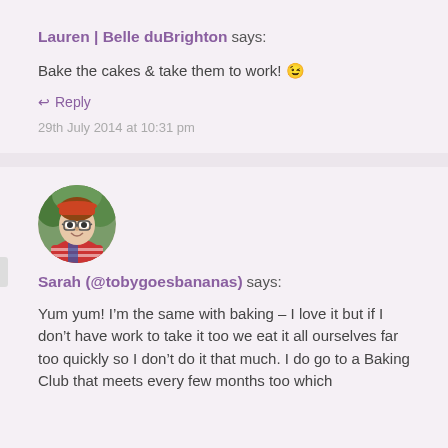Lauren | Belle duBrighton says:
Bake the cakes & take them to work! 😉
↩ Reply
29th July 2014 at 10:31 pm
[Figure (photo): Circular avatar photo of Sarah, a woman with glasses and a red striped top, smiling outdoors with green foliage behind her]
Sarah (@tobygoesbananas) says:
Yum yum! I'm the same with baking – I love it but if I don't have work to take it too we eat it all ourselves far too quickly so I don't do it that much. I do go to a Baking Club that meets every few months too which